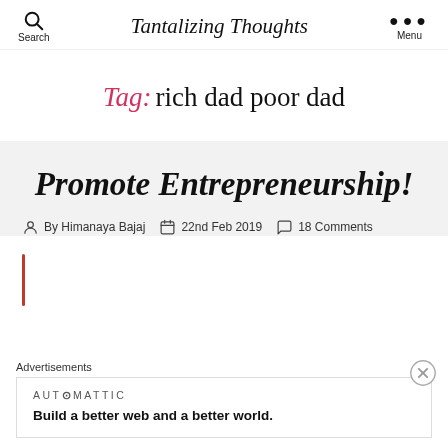Search | Tantalizing Thoughts | Menu
Tag: rich dad poor dad
Promote Entrepreneurship!
By Himanaya Bajaj  22nd Feb 2019  18 Comments
Advertisements
AUTOMATTIC
Build a better web and a better world.